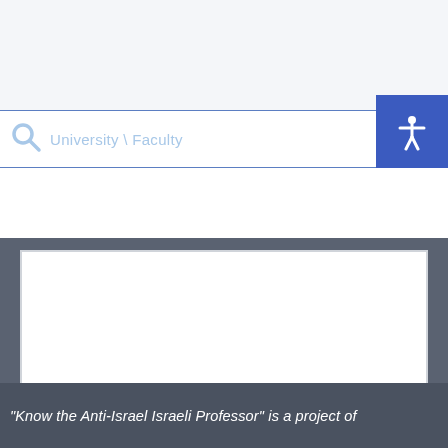[Figure (screenshot): Search bar with placeholder text 'University \ Faculty' and a blue accessibility icon button on the right showing a person figure]
[Figure (screenshot): White content area inside a dark gray panel, representing an embedded map or content viewer]
“Know the Anti-Israel Israeli Professor” is a project of